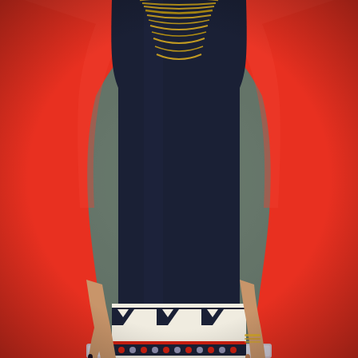[Figure (photo): Fashion photo showing a woman's torso and legs wearing a red blazer over a dark navy top, with a layered gold chain necklace visible at the top. She wears a colorful Aztec/tribal print mini skirt with geometric patterns in navy, cream, red, and gray, including zigzag chevron patterns, striped bands, and dot motifs. The background is a muted gray-green. Her left hand hangs at her side with dark nail polish. Her right hand rests on her hip with bracelets visible.]